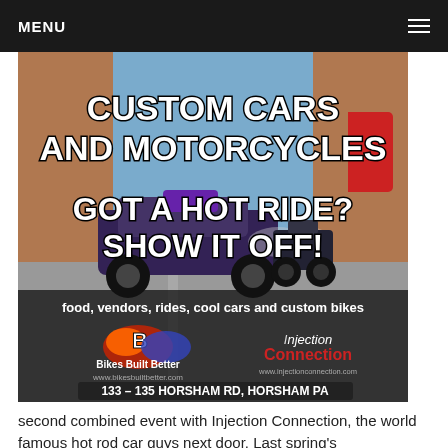MENU
[Figure (photo): Advertisement for a custom cars and motorcycles event. Features bold text 'CUSTOM CARS AND MOTORCYCLES' and 'GOT A HOT RIDE? SHOW IT OFF!' with logos for Bikes Built Better and Injection Connection, address 133-135 Horsham Rd, Horsham PA, and text 'food, vendors, rides, cool cars and custom bikes']
second combined event with Injection Connection, the world famous hot rod car guys next door. Last spring's